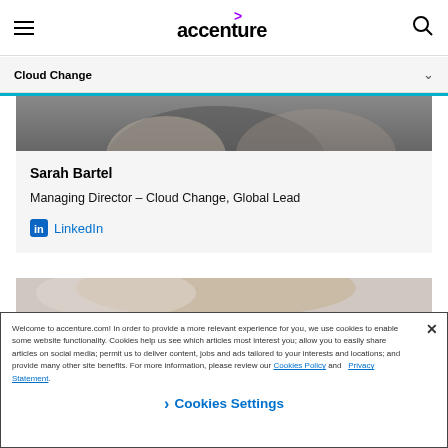accenture
Cloud Change
[Figure (photo): Top portion of a person's head with grey/dark hair, cropped]
Sarah Bartel
Managing Director – Cloud Change, Global Lead
LinkedIn
[Figure (photo): Partial photo of a person, cropped at top]
Welcome to accenture.com! In order to provide a more relevant experience for you, we use cookies to enable some website functionality. Cookies help us see which articles most interest you; allow you to easily share articles on social media; permit us to deliver content, jobs and ads tailored to your interests and locations; and provide many other site benefits. For more information, please review our Cookies Policy and   Privacy Statement.
Cookies Settings